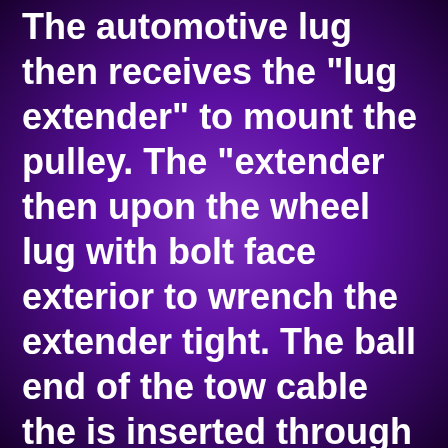The automotive lug then receives the "lug extender" to mount the pulley. The "extender then upon the wheel lug with bolt face exterior to wrench the extender tight. The ball end of the tow cable the is inserted through the cable port and secured by the locking clamp. The tow hook length is then adjusted by